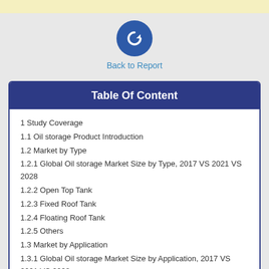[Figure (illustration): Circular blue icon with a counter-clockwise arrow (refresh/back symbol)]
Back to Report
Table Of Content
1 Study Coverage
1.1 Oil storage Product Introduction
1.2 Market by Type
1.2.1 Global Oil storage Market Size by Type, 2017 VS 2021 VS 2028
1.2.2 Open Top Tank
1.2.3 Fixed Roof Tank
1.2.4 Floating Roof Tank
1.2.5 Others
1.3 Market by Application
1.3.1 Global Oil storage Market Size by Application, 2017 VS 2021 VS 2028
1.3.2 Crude Oil